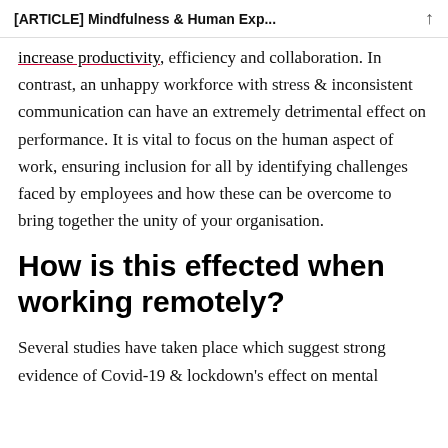[ARTICLE] Mindfulness & Human Exp...
increase productivity, efficiency and collaboration. In contrast, an unhappy workforce with stress & inconsistent communication can have an extremely detrimental effect on performance. It is vital to focus on the human aspect of work, ensuring inclusion for all by identifying challenges faced by employees and how these can be overcome to bring together the unity of your organisation.
How is this effected when working remotely?
Several studies have taken place which suggest strong evidence of Covid-19 & lockdown's effect on mental